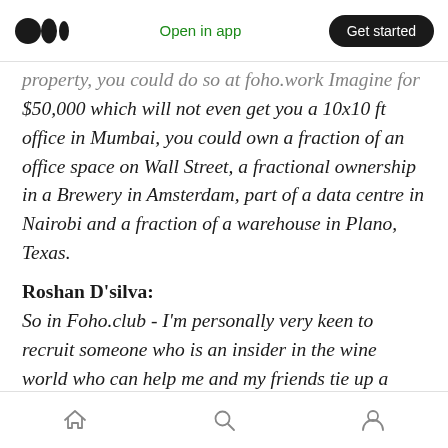Medium app header — logo, Open in app, Get started
property, you could do so at foho.work Imagine for $50,000 which will not even get you a 10x10 ft office in Mumbai, you could own a fraction of an office space on Wall Street, a fractional ownership in a Brewery in Amsterdam, part of a data centre in Nairobi and a fraction of a warehouse in Plano, Texas.
Roshan D'silva:
So in Foho.club - I'm personally very keen to recruit someone who is an insider in the wine world who can help me and my friends tie up a club which can
Bottom navigation bar — home, search, profile